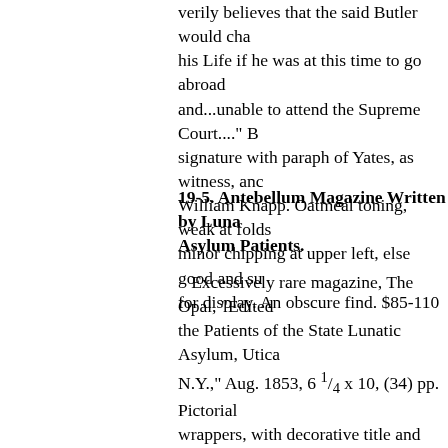verily believes that the said Butler would cha his Life if he was at this time to go abroad and...unable to attend the Supreme Court...." B signature with paraph of Yates, as witness, anc William Knapp. Oatmeal toning, weak at folds minor chipping at upper left, else good and su for display. An obscure find. $85-110
19-5. Antebellum Magazine Written by Luna Asylum Patients.
Excessively rare magazine, The Opal, "Edited the Patients of the State Lunatic Asylum, Utica N.Y.," Aug. 1853, 6 ¼ x 10, (34) pp. Pictorial wrappers, with decorative title and Gothic frar ornaments. Probably the first periodical in Am written and edited by psychiatric patients, published by Dr. Amariah Brigham, here pion his new approach to "social psychiatry"; foun American Journal of Insanity (today's Americ Journal of Psychiatry). "Devoted to usefulness this issue largely devoted to "Literary Studies, with eloquent, well-written articles, poems, am book reviews by the inmates. "We are so constituted...that a certain degree of employm